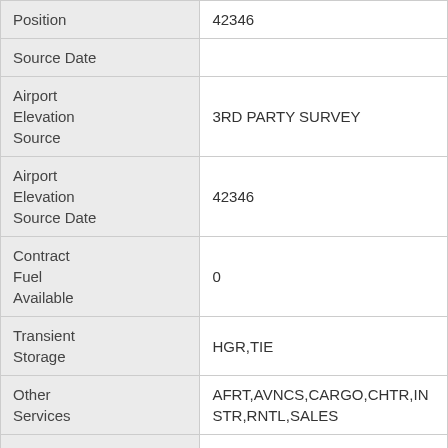| Field | Value |
| --- | --- |
| Position | 42346 |
| Source Date |  |
| Airport Elevation Source | 3RD PARTY SURVEY |
| Airport Elevation Source Date | 42346 |
| Contract Fuel Available | 0 |
| Transient Storage | HGR,TIE |
| Other Services | AFRT,AVNCS,CARGO,CHTR,INSTR,RNTL,SALES |
| Wind |  |